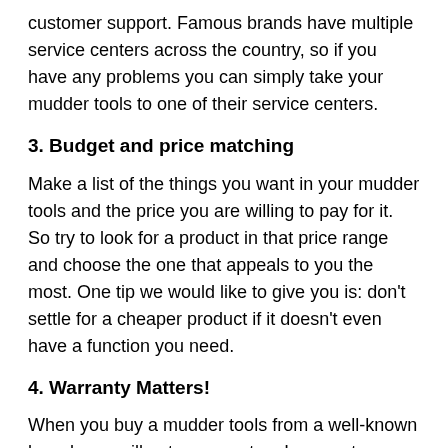customer support. Famous brands have multiple service centers across the country, so if you have any problems you can simply take your mudder tools to one of their service centers.
3. Budget and price matching
Make a list of the things you want in your mudder tools and the price you are willing to pay for it. So try to look for a product in that price range and choose the one that appeals to you the most. One tip we would like to give you is: don't settle for a cheaper product if it doesn't even have a function you need.
4. Warranty Matters!
When you buy a mudder tools from a well-known brand, you will get a guarantee. Low-cost products also come with warranties, but the claim process could be tougher. That's why I always suggest you buy the product from a reputed brand and the one that comes under warranty. It will save you